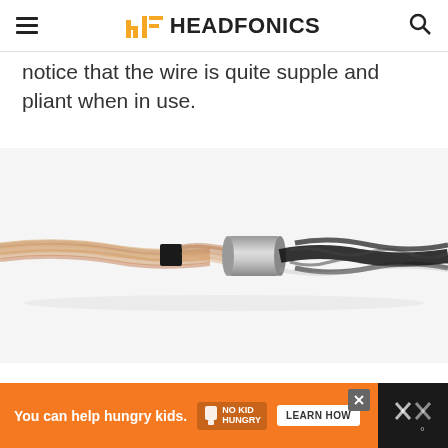HEADFONICS
notice that the wire is quite supple and pliant when in use.
[Figure (photo): Close-up photo of an audio cable showing twisted copper wire strands on the left side connected via a silver metal cylindrical connector to a black twisted fabric-sheathed cable on the right side, with a small black square cable tie on the left wire.]
[Figure (infographic): Orange advertisement banner reading 'You can help hungry kids.' with No Kid Hungry logo and 'LEARN HOW' button, with a close (X) button and a dark side panel with X marks.]